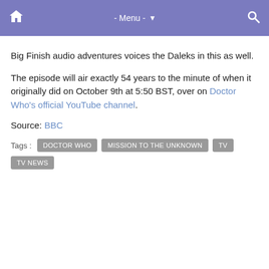- Menu -
Big Finish audio adventures voices the Daleks in this as well.
The episode will air exactly 54 years to the minute of when it originally did on October 9th at 5:50 BST, over on Doctor Who's official YouTube channel.
Source: BBC
Tags : DOCTOR WHO  MISSION TO THE UNKNOWN  TV  TV NEWS